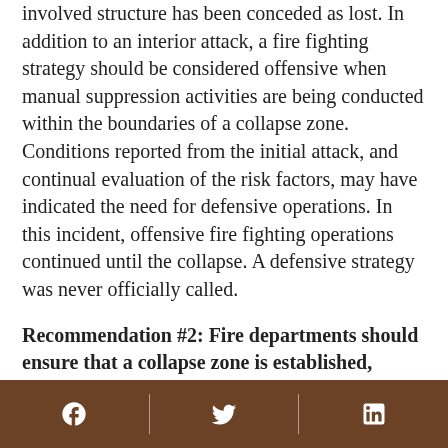involved structure has been conceded as lost. In addition to an interior attack, a fire fighting strategy should be considered offensive when manual suppression activities are being conducted within the boundaries of a collapse zone. Conditions reported from the initial attack, and continual evaluation of the risk factors, may have indicated the need for defensive operations. In this incident, offensive fire fighting operations continued until the collapse. A defensive strategy was never officially called.
Recommendation #2: Fire departments should ensure that a collapse zone is established, clearly marked, and monitored at structure fires where buildings have been identified at risk of collapsing.5-8
Discussion: Upon arrival, and at any time during a
[Figure (infographic): Footer bar with social media icons: Facebook, Twitter, LinkedIn on brown background]